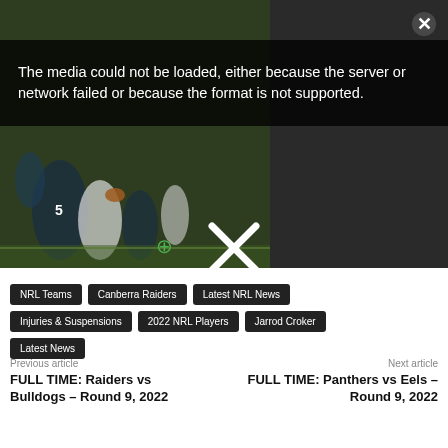[Figure (screenshot): Video player area showing a rugby/football match freeze frame with players in dark and light jerseys on a field. Right side shows title text 'Matt Dufty's Top Moment of 2021'.]
The media could not be loaded, either because the server or network failed or because the format is not supported.
NRL Teams
Canberra Raiders
Latest NRL News
Injuries & Suspensions
2022 NRL Players
Jarrod Croker
Latest News
Previous article
Next article
FULL TIME: Raiders vs Bulldogs – Round 9, 2022
FULL TIME: Panthers vs Eels – Round 9, 2022
LATEST NEWS
FULL TIME: Eels vs Sharks — Round 9...